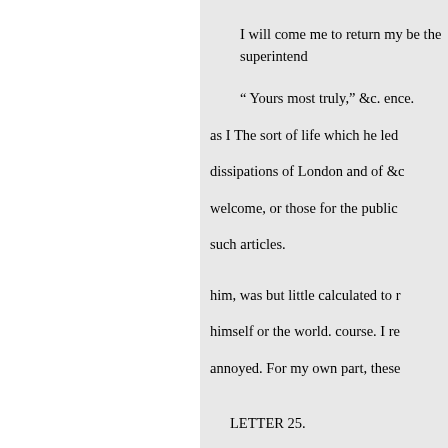I will come me to return my be the superintend
" Yours most truly," &c. ence. as I The sort of life which he led dissipations of London and of &c welcome, or those for the public such articles.
him, was but little calculated to r himself or the world. course. I re annoyed. For my own part, these
LETTER 25.
TO MR, BECHER.
1 - Tis a quality very observab and intimnidate us, has rather a c magnanimity. In collecting our f elevation with which otherwise i
* [" Dr. Johnson's reply to the
if any man living could have wri